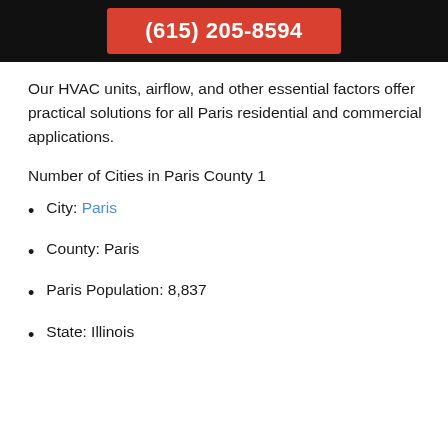(615) 205-8594
Our HVAC units, airflow, and other essential factors offer practical solutions for all Paris residential and commercial applications.
Number of Cities in Paris County 1
City: Paris
County: Paris
Paris Population: 8,837
State: Illinois